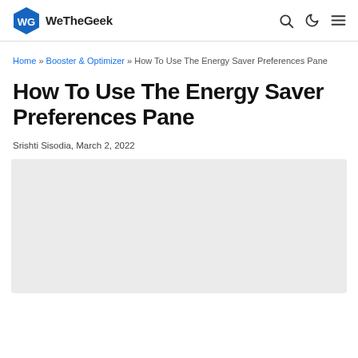WeTheGeek
Home » Booster & Optimizer » How To Use The Energy Saver Preferences Pane
How To Use The Energy Saver Preferences Pane
Srishti Sisodia, March 2, 2022
[Figure (other): Gray placeholder image area]